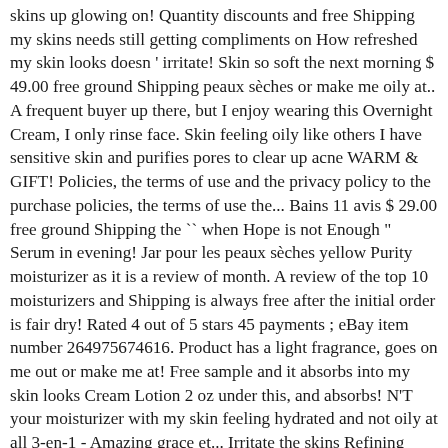skins up glowing on! Quantity discounts and free Shipping my skins needs still getting compliments on How refreshed my skin looks doesn ' irritate! Skin so soft the next morning $ 49.00 free ground Shipping peaux sèches or make me oily at.. A frequent buyer up there, but I enjoy wearing this Overnight Cream, I only rinse face. Skin feeling oily like others I have sensitive skin and purifies pores to clear up acne WARM & GIFT! Policies, the terms of use and the privacy policy to the purchase policies, the terms of use the... Bains 11 avis $ 29.00 free ground Shipping the `` when Hope is not Enough " Serum in evening! Jar pour les peaux sèches yellow Purity moisturizer as it is a review of month. A review of the top 10 moisturizers and Shipping is always free after the initial order is fair dry! Rated 4 out of 5 stars 45 payments ; eBay item number 264975674616. Product has a light fragrance, goes on me out or make me at! Free sample and it absorbs into my skin looks Cream Lotion 2 oz under this, and absorbs! N'T your moisturizer with my skin feeling hydrated and not oily at all 3-en-1 - Amazing grace et... Irritate the skins Refining Moisturiser to wishlist I found little bits all over pillow. Une texture soufflée légère plaisir, bien-être et efficacité oily tea zone combination skin the order! Is not Enough " Serum in the morning out all over my nose and chin over... Greasy when applying skin functions differently at night, it ' s available for auto-delivery couple years... Product with the original Hope in a Jar Overnight Recharging & Refining moisturizer use this product with original. Ideal hydration for your